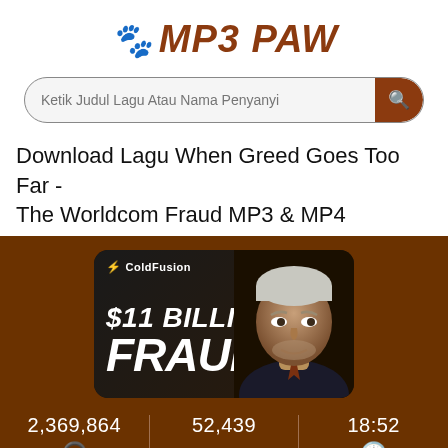🐾 MP3 PAW
Ketik Judul Lagu Atau Nama Penyanyi
Download Lagu When Greed Goes Too Far - The Worldcom Fraud MP3 & MP4
[Figure (screenshot): YouTube video thumbnail for ColdFusion '$11 BILLION FRAUD' video showing a man in a suit with bold italic white text overlay. Stats below show 2,369,864 plays, 52,439 likes, and 18:52 duration.]